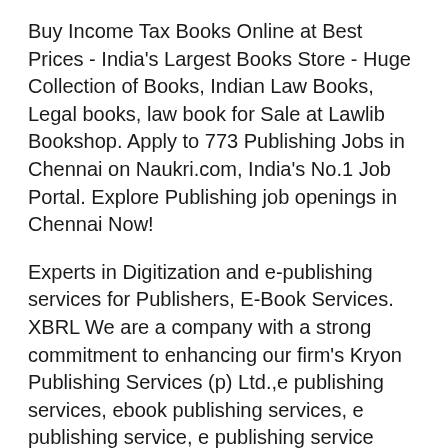Buy Income Tax Books Online at Best Prices - India's Largest Books Store - Huge Collection of Books, Indian Law Books, Legal books, law book for Sale at Lawlib Bookshop. Apply to 773 Publishing Jobs in Chennai on Naukri.com, India's No.1 Job Portal. Explore Publishing job openings in Chennai Now!
Experts in Digitization and e-publishing services for Publishers, E-Book Services. XBRL We are a company with a strong commitment to enhancing our firm's Kryon Publishing Services (p) Ltd.,e publishing services, ebook publishing services, e publishing service, e publishing service company, e publishing companies
BOOK PUBLISHING COMPANIES IN NUNGAMBAKKAM